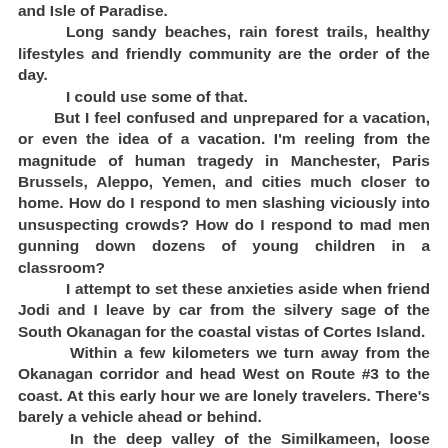and Isle of Paradise.

        Long sandy beaches, rain forest trails, healthy lifestyles and friendly community are the order of the day.
        I could use some of that.
        But I feel confused and unprepared for a vacation, or even the idea of a vacation. I'm reeling from the magnitude of human tragedy in Manchester, Paris Brussels, Aleppo, Yemen, and cities much closer to home. How do I respond to men slashing viciously into unsuspecting crowds? How do I respond to mad men gunning down dozens of young children in a classroom?
        I attempt to set these anxieties aside when friend Jodi and I leave by car from the silvery sage of the South Okanagan for the coastal vistas of Cortes Island.
        Within a few kilometers we turn away from the Okanagan corridor and head West on Route #3 to the coast. At this early hour we are lonely travelers. There's barely a vehicle ahead or behind.
        In the deep valley of the Similkameen, loose gravel and rough pockmarks on the highway indicate recent slide activity from the ragged cliffs above.